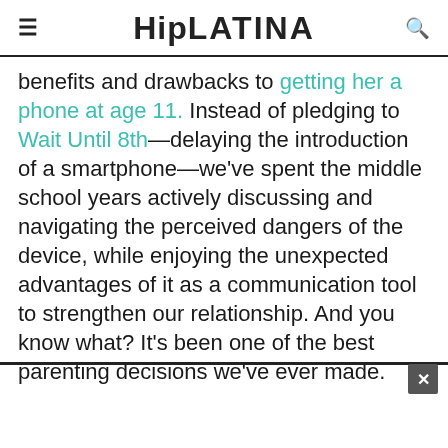HipLATINA
benefits and drawbacks to getting her a phone at age 11. Instead of pledging to Wait Until 8th—delaying the introduction of a smartphone—we've spent the middle school years actively discussing and navigating the perceived dangers of the device, while enjoying the unexpected advantages of it as a communication tool to strengthen our relationship. And you know what? It's been one of the best parenting decisions we've ever made.